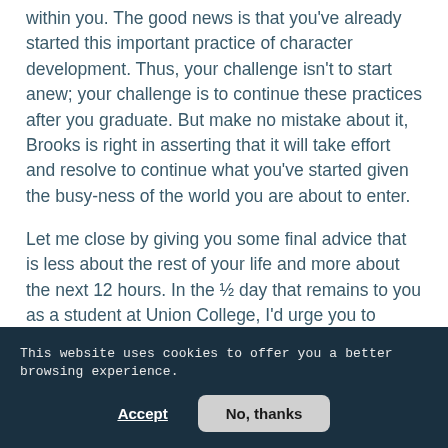within you. The good news is that you've already started this important practice of character development. Thus, your challenge isn't to start anew; your challenge is to continue these practices after you graduate. But make no mistake about it, Brooks is right in asserting that it will take effort and resolve to continue what you've started given the busy-ness of the world you are about to enter.
Let me close by giving you some final advice that is less about the rest of your life and more about the next 12 hours. In the ½ day that remains to you as a student at Union College, I'd urge you to reflect upon and savor your experiences of the
This website uses cookies to offer you a better browsing experience.